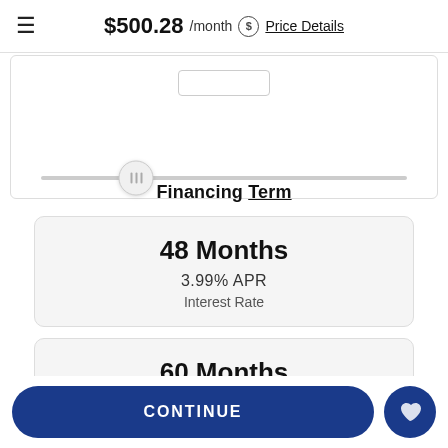$500.28 /month  Price Details
[Figure (other): A slider input UI element with a text input box above and a horizontal track with a round thumb handle positioned about 27% from the left.]
Financing Term
48 Months
3.99% APR
Interest Rate
60 Months
4.99% APR
Interest Rate
CONTINUE